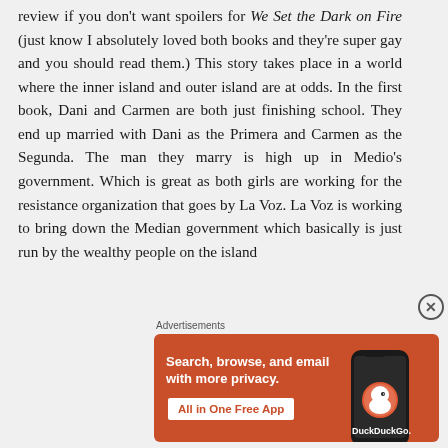review if you don't want spoilers for We Set the Dark on Fire (just know I absolutely loved both books and they're super gay and you should read them.) This story takes place in a world where the inner island and outer island are at odds. In the first book, Dani and Carmen are both just finishing school. They end up married with Dani as the Primera and Carmen as the Segunda. The man they marry is high up in Medio's government. Which is great as both girls are working for the resistance organization that goes by La Voz. La Voz is working to bring down the Median government which basically is just run by the wealthy people on the island
[Figure (screenshot): DuckDuckGo advertisement banner with orange background showing 'Search, browse, and email with more privacy. All in One Free App' with a phone image and DuckDuckGo logo]